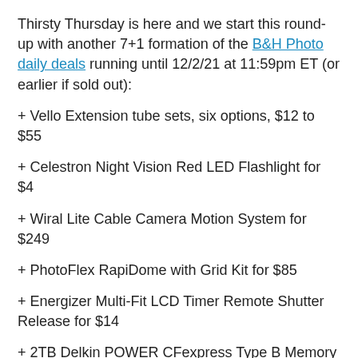Thirsty Thursday is here and we start this round-up with another 7+1 formation of the B&H Photo daily deals running until 12/2/21 at 11:59pm ET (or earlier if sold out):
+ Vello Extension tube sets, six options, $12 to $55
+ Celestron Night Vision Red LED Flashlight for $4
+ Wiral Lite Cable Camera Motion System for $249
+ PhotoFlex RapiDome with Grid Kit for $85
+ Energizer Multi-Fit LCD Timer Remote Shutter Release for $14
+ 2TB Delkin POWER CFexpress Type B Memory Card for $550 after automagic in-cart coupon
+ Joby GripTight PRO Video GP Stand (Black/Charcoal) for $?? after automagic in-cart coupon